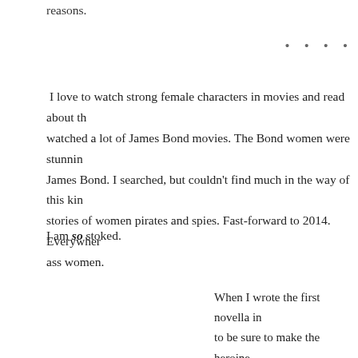reasons.
• • • •
I love to watch strong female characters in movies and read about them. I watched a lot of James Bond movies. The Bond women were stunning and James Bond. I searched, but couldn't find much in the way of this kind stories of women pirates and spies. Fast-forward to 2014. Everywhere ass women.
I am so stoked.
When I wrote the first novella in to be sure to make the heroine understanding of herself through in dangerous situations. In the group of commandos to save th ass. I have heard from as many a compliment in so many ways. as women do speaks volumes capable women.